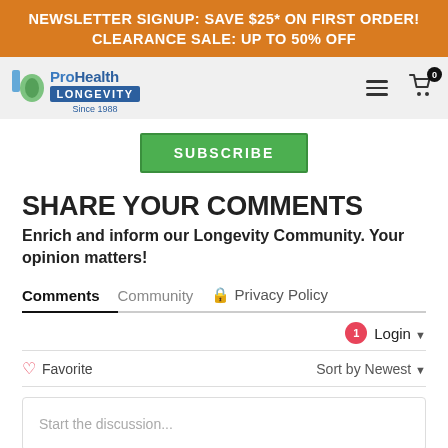NEWSLETTER SIGNUP: SAVE $25* ON FIRST ORDER!
CLEARANCE SALE: UP TO 50% OFF
[Figure (logo): ProHealth Longevity logo with blue and green leaf icon, text 'ProHealth Longevity Since 1988']
[Figure (other): Subscribe button in green]
SHARE YOUR COMMENTS
Enrich and inform our Longevity Community. Your opinion matters!
Comments   Community   Privacy Policy
1   Login ▾
♡ Favorite   Sort by Newest ▾
Start the discussion...